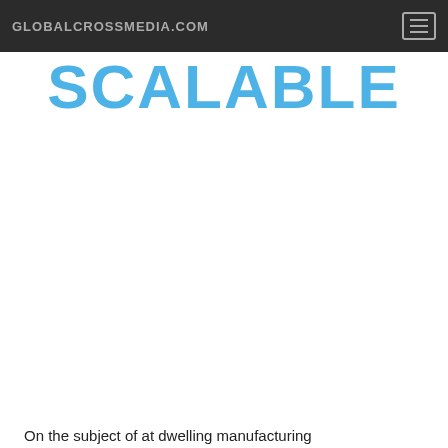GLOBALCROSSMEDIA.COM
SCALABLE
[Figure (infographic): Pyramid/funnel arrangement of dark blue human figure icons arranged in rows tapering from wide at top to a single light blue figure at the bottom, suggesting scalable network or hierarchy. Figures have drop shadows. Bottom figure is light blue (cyan), all others are dark navy blue.]
On the subject of at dwelling manufacturing